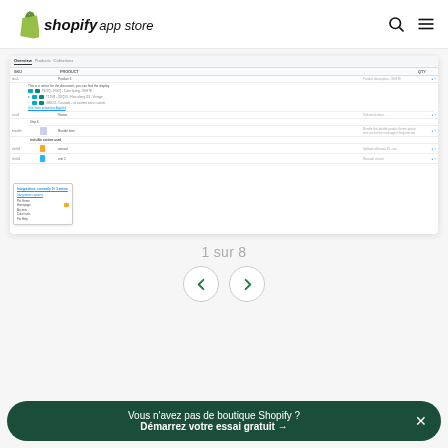shopify app store
[Figure (screenshot): Shopify admin interface screenshot showing a product/inventory table with rows of items, color swatches, variant details, and a sidebar with filtering options including categories like 'For Home', 'Accents', 'Color tools', 'For Help']
1 sur 8
[Figure (other): Navigation buttons: left chevron and right chevron in circular outlines, colored teal/green]
Vous n'avez pas de boutique Shopify ?
Démarrez votre essai gratuit →